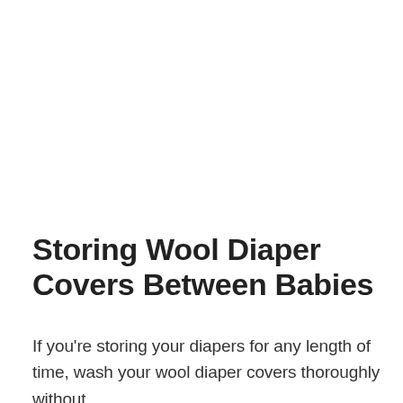Storing Wool Diaper Covers Between Babies
If you're storing your diapers for any length of time, wash your wool diaper covers thoroughly without